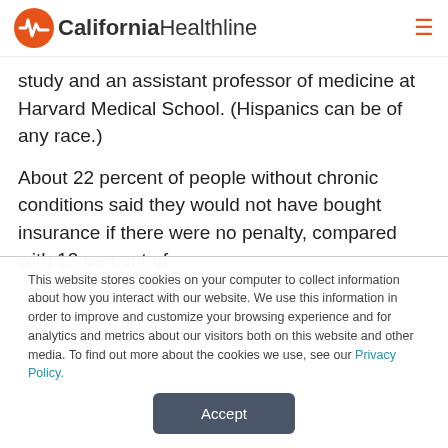California Healthline
study and an assistant professor of medicine at Harvard Medical School. (Hispanics can be of any race.)
About 22 percent of people without chronic conditions said they would not have bought insurance if there were no penalty, compared with 12 percent of
This website stores cookies on your computer to collect information about how you interact with our website. We use this information in order to improve and customize your browsing experience and for analytics and metrics about our visitors both on this website and other media. To find out more about the cookies we use, see our Privacy Policy.